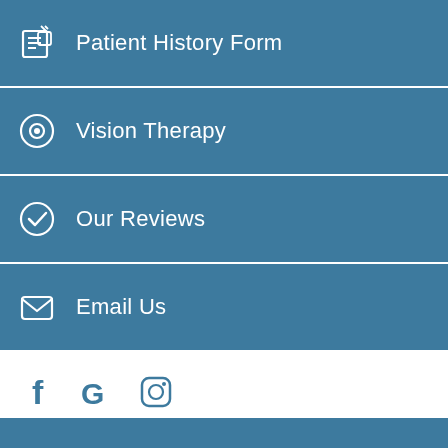Patient History Form
Vision Therapy
Our Reviews
Email Us
[Figure (infographic): Social media icons: Facebook (f), Google (G), Instagram (camera)]
We Direct Bill